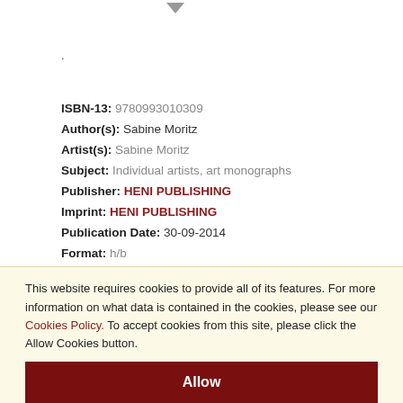ISBN-13: 9780993010309
Author(s): Sabine Moritz
Artist(s): Sabine Moritz
Subject: Individual artists, art monographs
Publisher: HENI PUBLISHING
Imprint: HENI PUBLISHING
Publication Date: 30-09-2014
Format: h/b
This website requires cookies to provide all of its features. For more information on what data is contained in the cookies, please see our Cookies Policy. To accept cookies from this site, please click the Allow Cookies button.